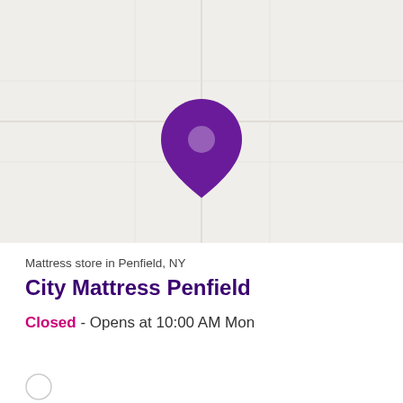[Figure (map): Map background with a purple location pin marker centered in the upper portion of the page]
Mattress store in Penfield, NY
City Mattress Penfield
Closed - Opens at 10:00 AM Mon